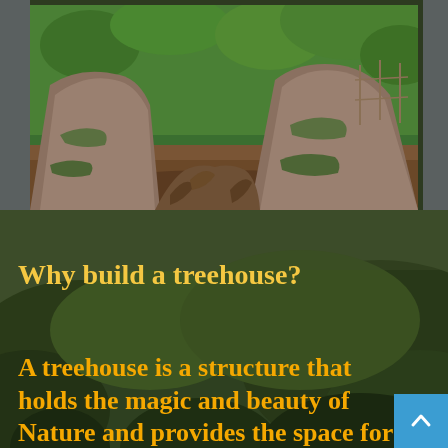[Figure (photo): Two large moss-covered tree trunks with exposed roots in a lush green forest, photographed from close up at the base.]
[Figure (photo): Aerial or wide view of a dense green forested hillside, used as background for the lower portion of the page.]
Why build a treehouse?
A treehouse is a structure that holds the magic and beauty of Nature and provides the space for our souls to